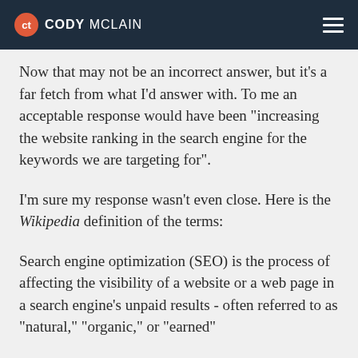CODY MCLAIN
Now that may not be an incorrect answer, but it’s a far fetch from what I’d answer with. To me an acceptable response would have been “increasing the website ranking in the search engine for the keywords we are targeting for”.
I’m sure my response wasn’t even close. Here is the Wikipedia definition of the terms:
Search engine optimization (SEO) is the process of affecting the visibility of a website or a web page in a search engine's unpaid results - often referred to as "natural," "organic," or "earned"